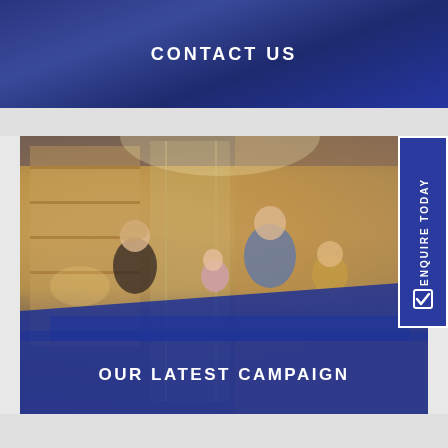CONTACT US
[Figure (photo): A family scene in a modern home interior — a woman in black top, a man in blue shirt, and two children around a dining table with food, with bookshelves and glass doors in the background. Bottom half overlaid with semi-transparent blue. Text reads OUR LATEST CAMPAIGN. An ENQUIRE TODAY tab on the right side.]
OUR LATEST CAMPAIGN
ENQUIRE TODAY